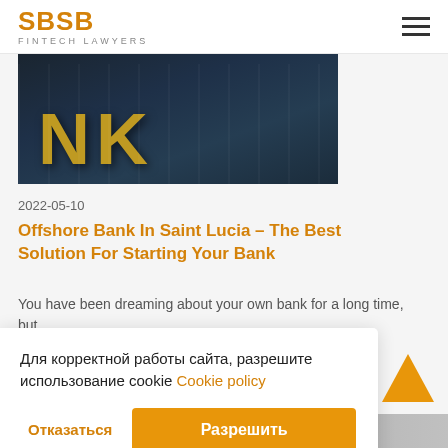SBSB FINTECH LAWYERS
[Figure (photo): Bank building facade with large golden letters 'NK' visible, dark blue/grey glass exterior]
2022-05-10
Offshore Bank In Saint Lucia – The Best Solution For Starting Your Bank
You have been dreaming about your own bank for a long time, but
Для корректной работы сайта, разрешите использование cookie Cookie policy
Отказаться
Разрешить
[Figure (photo): Bottom strip showing partial images]